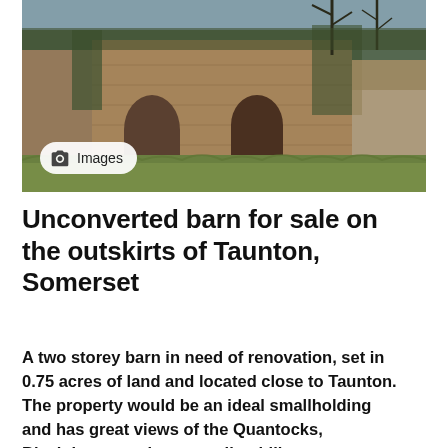[Figure (photo): Photo of a ruined two-storey stone barn with overgrown vegetation, bare trees, and green grass in the foreground. An 'Images' badge with a camera icon is overlaid in the lower-left of the photo.]
Unconverted barn for sale on the outskirts of Taunton, Somerset
A two storey barn in need of renovation, set in 0.75 acres of land and located close to Taunton. The property would be an ideal smallholding and has great views of the Quantocks, Blackdowns and surrounding hills